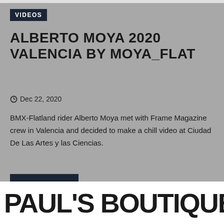VIDEOS
ALBERTO MOYA 2020 VALENCIA BY MOYA_FLAT
Dec 22, 2020
BMX-Flatland rider Alberto Moya met with Frame Magazine crew in Valencia and decided to make a chill video at Ciudad De Las Artes y las Ciencias.
READ MORE
PAUL'S BOUTIQUE BMX